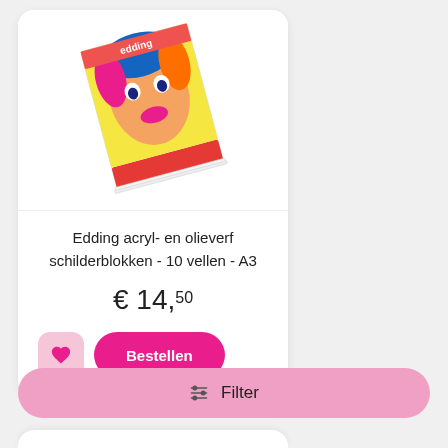[Figure (photo): Edding acrylic and oil paint pad product image - a tilted sketchpad with colorful pop-art face on cover, with 'edding' branding]
Edding acryl- en olieverf schilderblokken - 10 vellen - A3
€ 14,50
Bestellen
⊞ Filter